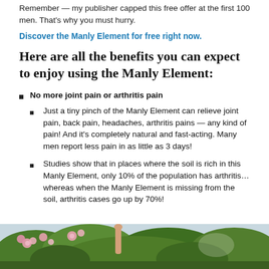Remember — my publisher capped this free offer at the first 100 men. That's why you must hurry.
Discover the Manly Element for free right now.
Here are all the benefits you can expect to enjoy using the Manly Element:
No more joint pain or arthritis pain
Just a tiny pinch of the Manly Element can relieve joint pain, back pain, headaches, arthritis pains — any kind of pain! And it's completely natural and fast-acting. Many men report less pain in as little as 3 days!
Studies show that in places where the soil is rich in this Manly Element, only 10% of the population has arthritis… whereas when the Manly Element is missing from the soil, arthritis cases go up by 70%!
[Figure (photo): Outdoor garden scene with pink roses and green foliage, a hand visible among plants]